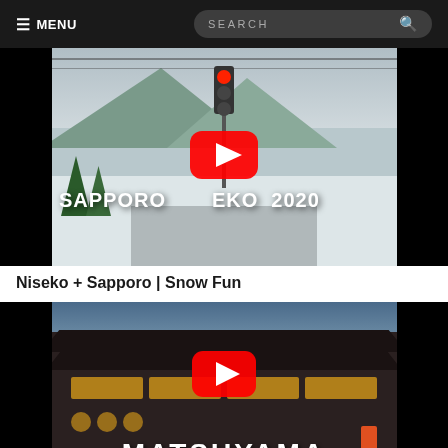≡ MENU  |  SEARCH
[Figure (screenshot): YouTube video thumbnail for Niseko + Sapporo Snow Fun 2020 — snowy street scene with power lines, red traffic light, mountains in background. Large white text 'SAPPORO NISEKO 2020' overlaid. Red YouTube play button in center.]
Niseko + Sapporo | Snow Fun
[Figure (screenshot): YouTube video thumbnail for Matsuyama — traditional Japanese bathhouse/temple building at dusk with illuminated windows. Red YouTube play button in center. Large white text 'MATSUYAMA' at bottom.]